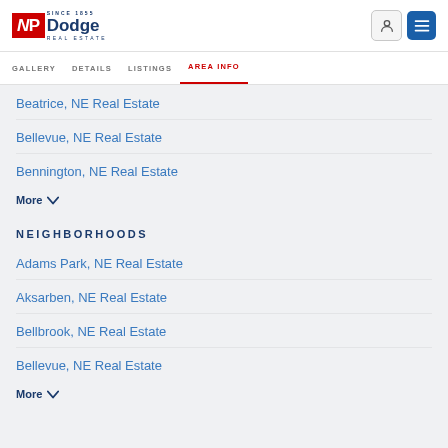NP Dodge Real Estate — Since 1855
GALLERY   DETAILS   LISTINGS   AREA INFO
Beatrice, NE Real Estate
Bellevue, NE Real Estate
Bennington, NE Real Estate
More
NEIGHBORHOODS
Adams Park, NE Real Estate
Aksarben, NE Real Estate
Bellbrook, NE Real Estate
Bellevue, NE Real Estate
More